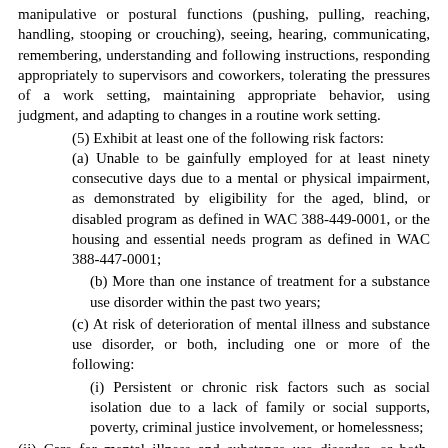manipulative or postural functions (pushing, pulling, reaching, handling, stooping or crouching), seeing, hearing, communicating, remembering, understanding and following instructions, responding appropriately to supervisors and coworkers, tolerating the pressures of a work setting, maintaining appropriate behavior, using judgment, and adapting to changes in a routine work setting.
(5) Exhibit at least one of the following risk factors:
(a) Unable to be gainfully employed for at least ninety consecutive days due to a mental or physical impairment, as demonstrated by eligibility for the aged, blind, or disabled program as defined in WAC 388-449-0001, or the housing and essential needs program as defined in WAC 388-447-0001;
(b) More than one instance of treatment for a substance use disorder within the past two years;
(c) At risk of deterioration of mental illness and substance use disorder, or both, including one or more of the following:
(i) Persistent or chronic risk factors such as social isolation due to a lack of family or social supports, poverty, criminal justice involvement, or homelessness;
(ii) Care for mental illness and substance use disorder, or both, requires multiple provider types, including behavioral health, primary care, long-term services and supports, or other supportive services; or
(iii) Past psychiatric history, with no significant functional improvement that can be maintained without treatment and/or